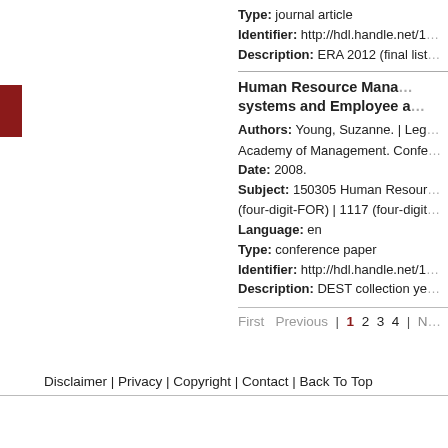Type: journal article
Identifier: http://hdl.handle.net/1...
Description: ERA 2012 (final list...
Human Resource Mana... systems and Employee a...
Authors: Young, Suzanne. | Leg... Academy of Management. Confe...
Date: 2008.
Subject: 150305 Human Resour... (four-digit-FOR) | 1117 (four-digit-...
Language: en
Type: conference paper
Identifier: http://hdl.handle.net/1...
Description: DEST collection ye...
First  Previous  |  1  2  3  4  | N...
Disclaimer | Privacy | Copyright | Contact | Back To Top